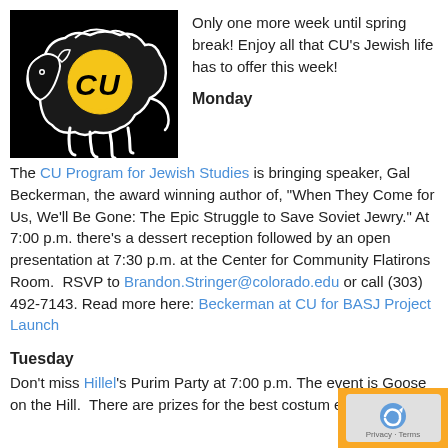[Figure (logo): University of Colorado buffalo logo with CU letters in gold on black background]
Only one more week until spring break! Enjoy all that CU's Jewish life has to offer this week!
Monday
The CU Program for Jewish Studies is bringing speaker, Gal Beckerman, the award winning author of, “When They Come for Us, We’ll Be Gone: The Epic Struggle to Save Soviet Jewry.” At 7:00 p.m. there’s a dessert reception followed by an open presentation at 7:30 p.m. at the Center for Community Flatirons Room.  RSVP to Brandon.Stringer@colorado.edu or call (303) 492-7143. Read more here: Beckerman at CU for BASJ Project Launch
Tuesday
Don’t miss Hillel’s Purim Party at 7:00 p.m. The event is Goose on the Hill.  There are prizes for the best costum event is 18+.